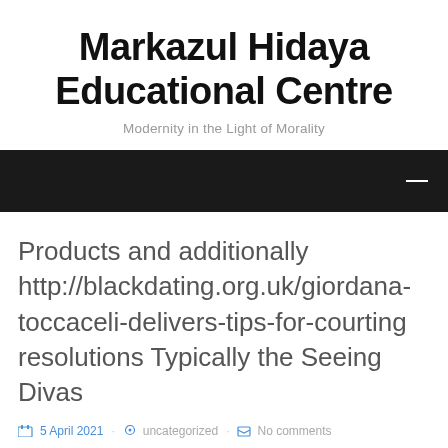Markazul Hidaya Educational Centre
Modernity in the Light of Morality
Products and additionally http://blackdating.org.uk/giordana-toccaceli-delivers-tips-for-courting resolutions Typically the Seeing Divas
5 April 2021